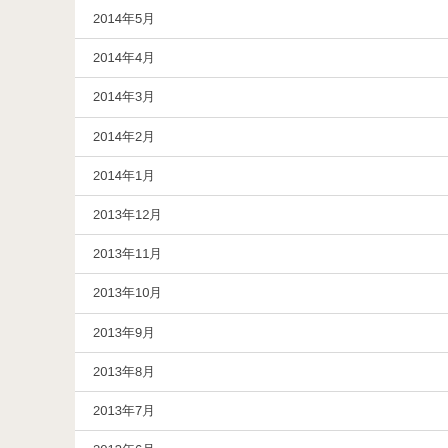2014年5月
2014年4月
2014年3月
2014年2月
2014年1月
2013年12月
2013年11月
2013年10月
2013年9月
2013年8月
2013年7月
2013年6月